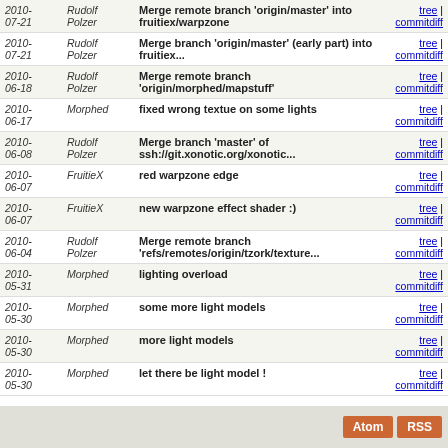| Date | Author | Message | Links |
| --- | --- | --- | --- |
| 2010-07-21 | Rudolf Polzer | Merge remote branch 'origin/master' into fruitiex/warpzone | tree | commitdiff |
| 2010-07-21 | Rudolf Polzer | Merge branch 'origin/master' (early part) into fruitiex... | tree | commitdiff |
| 2010-06-18 | Rudolf Polzer | Merge remote branch 'origin/morphed/mapstuff' | tree | commitdiff |
| 2010-06-17 | Morphed | fixed wrong textue on some lights | tree | commitdiff |
| 2010-06-08 | Rudolf Polzer | Merge branch 'master' of ssh://git.xonotic.org/xonotic... | tree | commitdiff |
| 2010-06-07 | FruitieX | red warpzone edge | tree | commitdiff |
| 2010-06-07 | FruitieX | new warpzone effect shader :) | tree | commitdiff |
| 2010-06-04 | Rudolf Polzer | Merge remote branch 'refs/remotes/origin/tzork/texture... | tree | commitdiff |
| 2010-05-31 | Morphed | lighting overload | tree | commitdiff |
| 2010-05-30 | Morphed | some more light models | tree | commitdiff |
| 2010-05-30 | Morphed | more light models | tree | commitdiff |
| 2010-05-30 | Morphed | let there be light model ! | tree | commitdiff |
Atom RSS